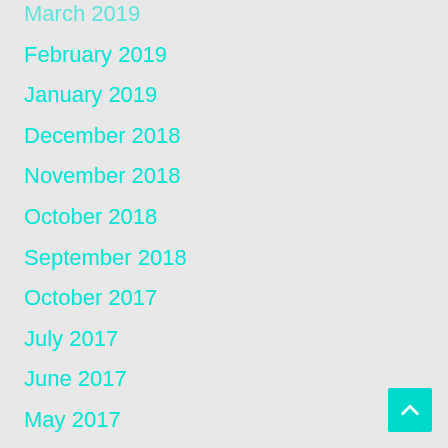March 2019
February 2019
January 2019
December 2018
November 2018
October 2018
September 2018
October 2017
July 2017
June 2017
May 2017
April 2017
August 2016
July 2016
June 2016